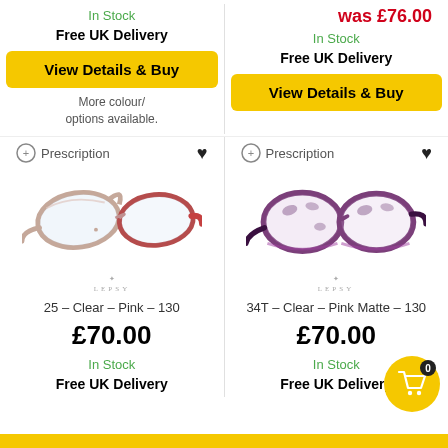was £76.00
In Stock
Free UK Delivery
View Details & Buy
In Stock
Free UK Delivery
View Details & Buy
More colour/ options available.
[Figure (photo): Lepsy eyeglasses frame 25 - Clear - Pink - 130, cat-eye style with pinkish-clear frames and red/pink temples]
[Figure (photo): Lepsy eyeglasses frame 34T - Clear - Pink Matte - 130, round style with purple/marbled tortoiseshell frames]
25 – Clear – Pink – 130
34T – Clear – Pink Matte – 130
£70.00
£70.00
In Stock
In Stock
Free UK Delivery
Free UK Delivery